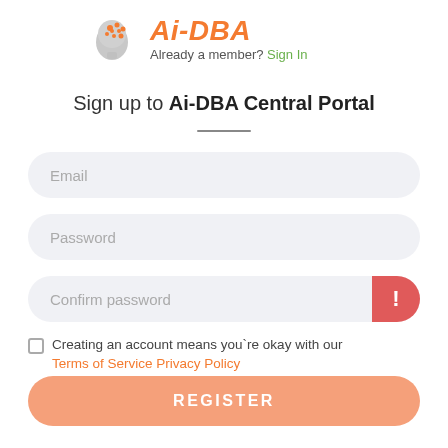[Figure (logo): Ai-DBA logo with brain icon in orange/gray]
Already a member? Sign In
Sign up to Ai-DBA Central Portal
Email
Password
Confirm password
Creating an account means you`re okay with our Terms of Service Privacy Policy
REGISTER